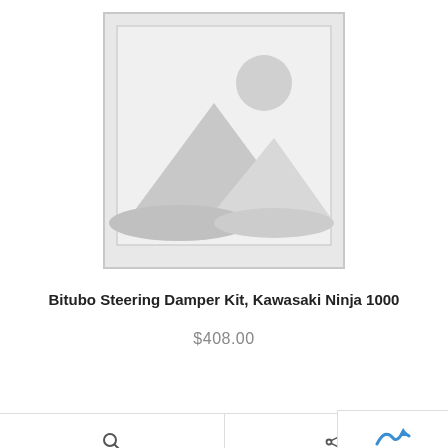[Figure (photo): Placeholder product image with mountains and sun icon on grey background]
Bitubo Steering Damper Kit, Kawasaki Ninja 1000
$408.00
ADD TO CART
DETAILS
SHARE
Back to top